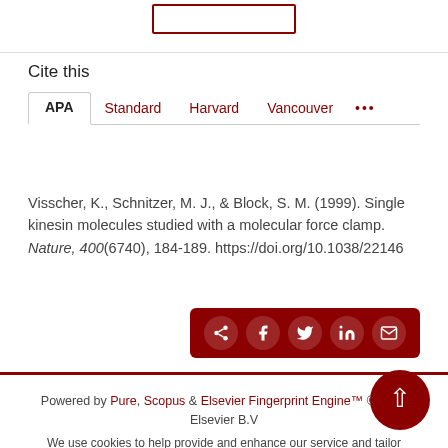Cite this
APA  Standard  Harvard  Vancouver  ...
Visscher, K., Schnitzer, M. J., & Block, S. M. (1999). Single kinesin molecules studied with a molecular force clamp. Nature, 400(6740), 184-189. https://doi.org/10.1038/22146
[Figure (infographic): Share bar with social media icons: share, Facebook, Twitter, LinkedIn, Email on dark red background]
Powered by Pure, Scopus & Elsevier Fingerprint Engine™ © 2020 Elsevier B.V
We use cookies to help provide and enhance our service and tailor content.